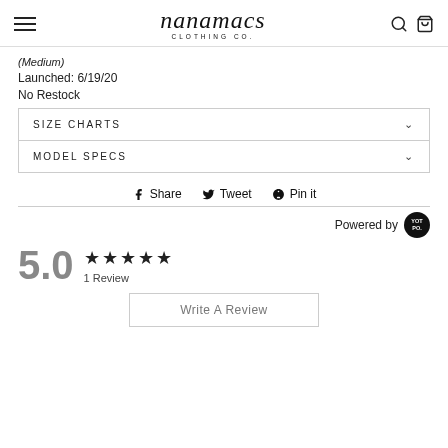nanamacs CLOTHING CO.
(Medium)
Launched: 6/19/20
No Restock
| SIZE CHARTS |
| MODEL SPECS |
Share   Tweet   Pin it
Powered by YOT PO.
5.0  ★★★★★  1 Review
Write A Review